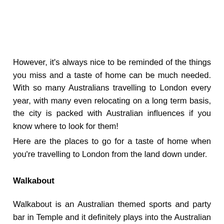However, it's always nice to be reminded of the things you miss and a taste of home can be much needed. With so many Australians travelling to London every year, with many even relocating on a long term basis, the city is packed with Australian influences if you know where to look for them!
Here are the places to go for a taste of home when you're travelling to London from the land down under.
Walkabout
Walkabout is an Australian themed sports and party bar in Temple and it definitely plays into the Australian stereotypes, but